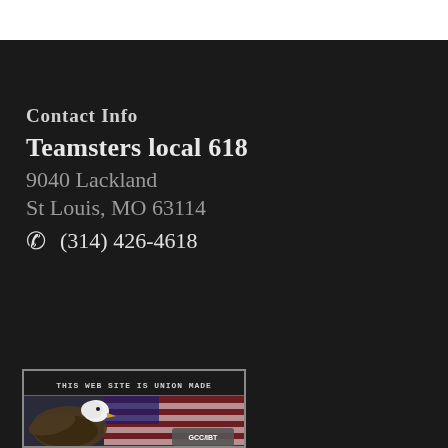Contact Info
Teamsters local 618
9040 Lackland
St Louis, MO 63114
(314) 426-4618
[Figure (logo): Badge reading THIS WEB SITE IS UNION MADE with an eagle and American flag, GCC/IBT logo]